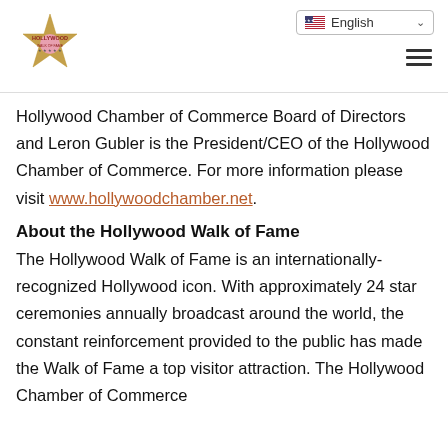[Figure (logo): Hollywood Walk of Fame star logo with text]
English (language selector dropdown)
Hollywood Chamber of Commerce Board of Directors and Leron Gubler is the President/CEO of the Hollywood Chamber of Commerce. For more information please visit www.hollywoodchamber.net.
About the Hollywood Walk of Fame
The Hollywood Walk of Fame is an internationally-recognized Hollywood icon. With approximately 24 star ceremonies annually broadcast around the world, the constant reinforcement provided to the public has made the Walk of Fame a top visitor attraction. The Hollywood Chamber of Commerce